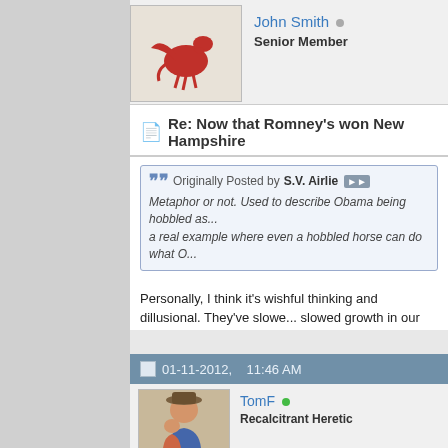[Figure (photo): Forum user avatar showing red pegasus/horse logo on white background for user John Smith]
John Smith
Senior Member
Re: Now that Romney's won New Hampshire
Originally Posted by S.V. Airlie
Metaphor or not. Used to describe Obama being hobbled as... a real example where even a hobbled horse can do what O...
Personally, I think it's wishful thinking and dillusional. They've slowed growth in our economy down.
"alternative facts (lies)" are a cancer eating through a democracy. The 1st amendment is not absolute.
01-11-2012,    11:46 AM
[Figure (photo): Forum user avatar showing TomF with hat and child]
TomF
Recalcitrant Heretic